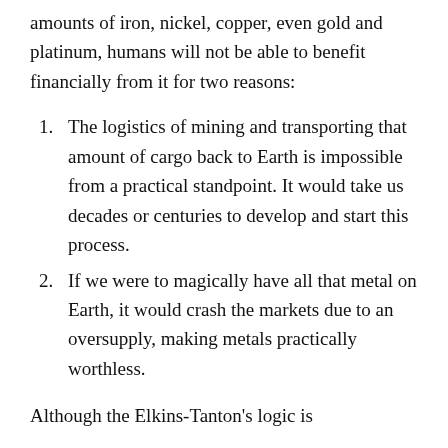amounts of iron, nickel, copper, even gold and platinum, humans will not be able to benefit financially from it for two reasons:
The logistics of mining and transporting that amount of cargo back to Earth is impossible from a practical standpoint. It would take us decades or centuries to develop and start this process.
If we were to magically have all that metal on Earth, it would crash the markets due to an oversupply, making metals practically worthless.
Although the Elkins-Tanton's logic is